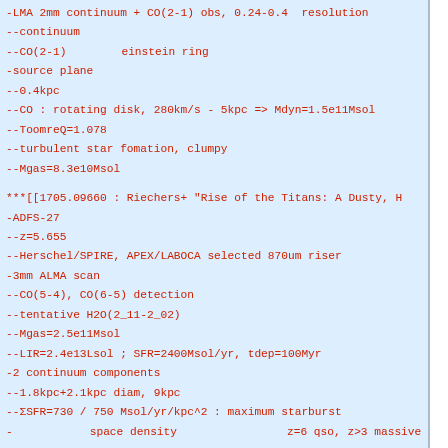-LMA 2mm continuum + CO(2-1) obs, 0.24-0.4" resolution
--continuumを3を3をを3
--CO(2-1)をを3ををeinstein ringを3ををを
-source plane
--0.4kpcをををを3
--CO : rotating disk, 280km/s - 5kpc => Mdyn=1.5e11Msol
--ToomreQ=1.078
--turbulent star fomation, clumpy
--Mgas=8.3e10Msol
***[[1705.09660 : Riechers+ "Rise of the Titans: A Dusty, H
-ADFS-27
--z=5.655
--Herschel/SPIRE, APEX/LABOCA selected 870um riser
-3mm ALMA scan
--CO(5-4), CO(6-5) detection
--tentative H2O(2_11-2_02)
--Mgas=2.5e11Msol
--LIR=2.4e13Lsol ; SFR=2400Msol/yr, tdep=100Myr
-2 continuum components
--1.8kpc+2.1kpc diam, 9kpcをををを
--ΣSFR=730 / 750 Msol/yr/kpc^2 : maximum starburst
-をををををををspace densityををををををををををz=6 qso, z>3 massive Q
***[[1705.10283 : Balashev+ "CO-dark molecular gas at high
-z=2.786 DLA system, H2 rich
--N_H2=21.21 : をををを13CO selected cloud in MWをを
--lowest metallicity : [Zn/H]=-1.52 : ををををををををを
---T=120K : ををを